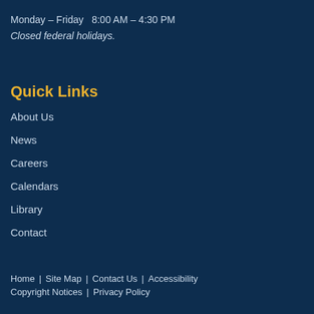Monday – Friday   8:00 AM – 4:30 PM
Closed federal holidays.
Quick Links
About Us
News
Careers
Calendars
Library
Contact
Home   Site Map   Contact Us   Accessibility
Copyright Notices   Privacy Policy